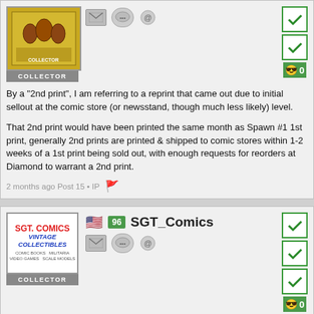[Figure (illustration): Comic book cover avatar with yellow/gold background showing figures, labeled COLLECTOR]
By a "2nd print", I am referring to a reprint that came out due to initial sellout at the comic store (or newsstand, though much less likely) level.

That 2nd print would have been printed the same month as Spawn #1 1st print, generally 2nd prints are printed & shipped to comic stores within 1-2 weeks of a 1st print being sold out, with enough requests for reorders at Diamond to warrant a 2nd print.
2 months ago Post 15 • IP
[Figure (logo): SGT Comics Vintage Collectibles logo - Comic Books, Militaria, Video Games, Scale Models]
SGT_Comics
Quote:
Originally Posted by Comicboarder